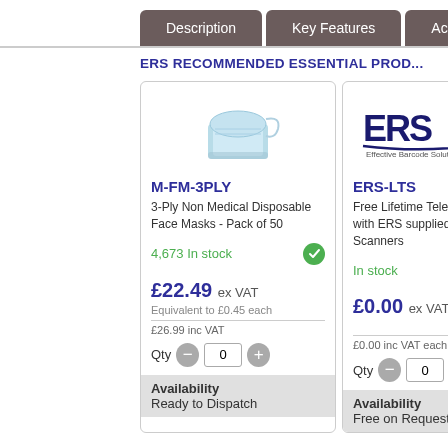Description | Key Features | Accessories | E...
ERS RECOMMENDED ESSENTIAL PROD...
[Figure (illustration): 3-Ply disposable face mask illustration]
M-FM-3PLY
3-Ply Non Medical Disposable Face Masks - Pack of 50
4,673 In stock
£22.49 ex VAT
Equivalent to £0.45 each
£26.99 inc VAT
Qty 0
Availability
Ready to Dispatch
[Figure (logo): ERS Effective Barcode Solutions logo]
ERS-LTS
Free Lifetime Telephone support with ERS supplied Barcode Scanners
In stock
£0.00 ex VAT each
£0.00 inc VAT each
Qty 0
Availability
Free on Request